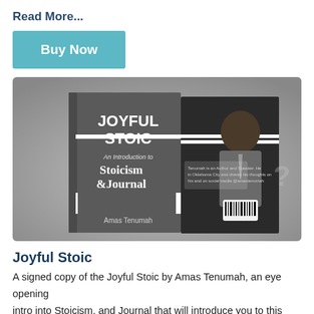Read More...
Buy Now
[Figure (photo): Book cover of 'Joyful Stoic: An Introduction to Stoicism & Journal' by Amas Tenumah, shown as a front cover and back cover with a photo of the author in a suit.]
Joyful Stoic
A signed copy of the Joyful Stoic by Amas Tenumah, an eye opening intro into Stoicism, and Journal that will introduce you to this 2,000